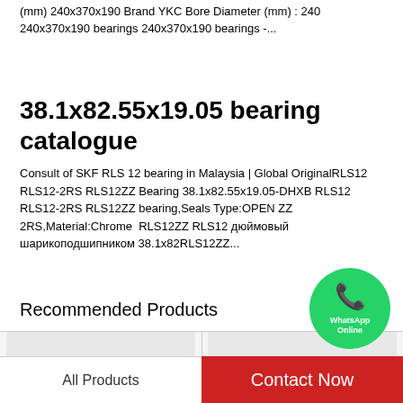(mm) 240x370x190 Brand YKC Bore Diameter (mm) : 240 240x370x190 bearings 240x370x190 bearings -...
38.1x82.55x19.05 bearing catalogue
Consult of SKF RLS 12 bearing in Malaysia | Global OriginalRLS12 RLS12-2RS RLS12ZZ Bearing 38.1x82.55x19.05-DHXB RLS12 RLS12-2RS RLS12ZZ bearing,Seals Type:OPEN ZZ 2RS,Material:Chrome  RLS12ZZ RLS12 дюймовый шарикоподшипником 38.1x82RLS12ZZ...
[Figure (other): WhatsApp Online green circle bubble with phone icon]
Recommended Products
[Figure (photo): Photo of a ball bearing component, dark metallic, left product cell]
[Figure (photo): Photo of a spherical ball bearing, right product cell]
All Products
Contact Now